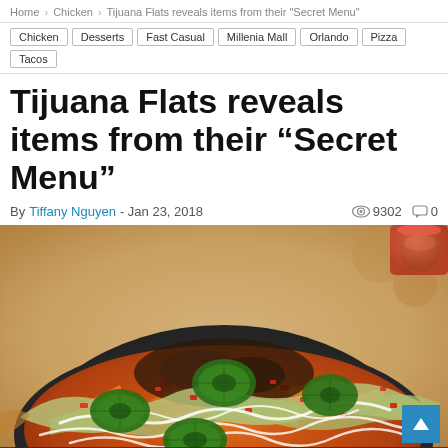Home > Chicken > Tijuana Flats reveals items from their "Secret Menu"
Chicken
Desserts
Fast Casual
Millenia Mall
Orlando
Pizza
Tacos
Tijuana Flats reveals items from their “Secret Menu”
By Tiffany Nguyen - Jan 23, 2018   9302   0
[Figure (photo): A plate of nachos topped with jalapeño slices, shredded lettuce, diced red tomatoes, ground beef, and sour cream drizzle on a dark plate, served at Tijuana Flats restaurant.]